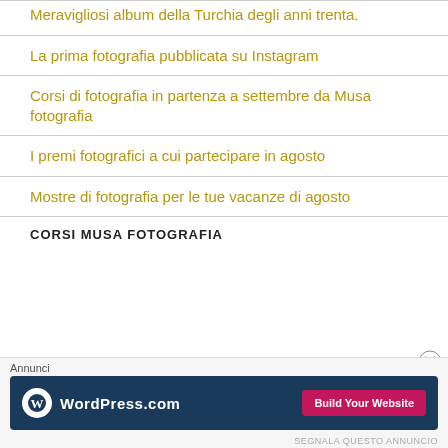Meravigliosi album della Turchia degli anni trenta.
La prima fotografia pubblicata su Instagram
Corsi di fotografia in partenza a settembre da Musa fotografia
I premi fotografici a cui partecipare in agosto
Mostre di fotografia per le tue vacanze di agosto
CORSI MUSA FOTOGRAFIA
[Figure (screenshot): WordPress.com advertisement banner with blue background, WordPress logo, and pink 'Build Your Website' button]